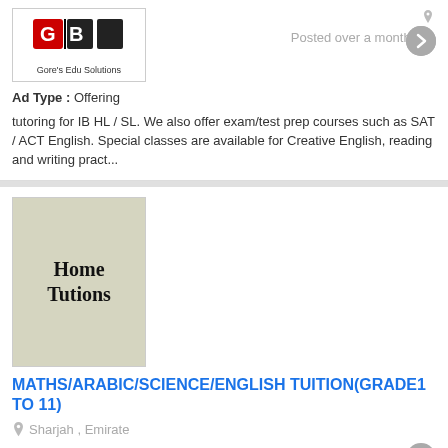[Figure (logo): Gore's Edu Solutions logo - red and black GB letters with company name]
Posted over a month ago
Ad Type :  Offering
tutoring for IB HL / SL. We also offer exam/test prep courses such as SAT / ACT English. Special classes are available for Creative English, reading and writing pract...
[Figure (illustration): Home Tutions logo - text on grey/beige background]
MATHS/ARABIC/SCIENCE/ENGLISH TUITION(GRADE1 TO 11)
Sharjah , Emirate
Ad Type :  Offering
Posted over a month ago
curriculums including IGCSE, CBSE, AMERICAN, IB, EDEXEL and ICSE are taught.
Subjects taken are as follows:
MATHS